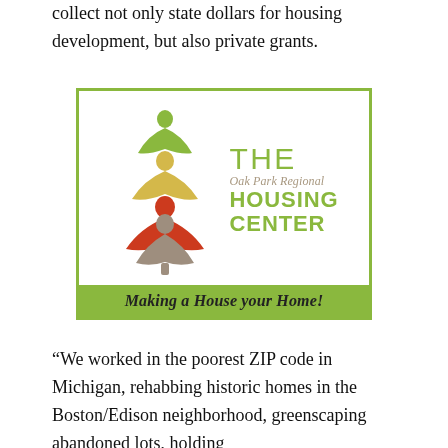collect not only state dollars for housing development, but also private grants.
[Figure (logo): The Oak Park Regional Housing Center logo featuring stacked stylized human figures in green, yellow, red, and gray forming a tree shape, with the text 'THE Oak Park Regional HOUSING CENTER' and a green banner reading 'Making a House your Home!']
“We worked in the poorest ZIP code in Michigan, rehabbing historic homes in the Boston/Edison neighborhood, greenscaping abandoned lots, holding